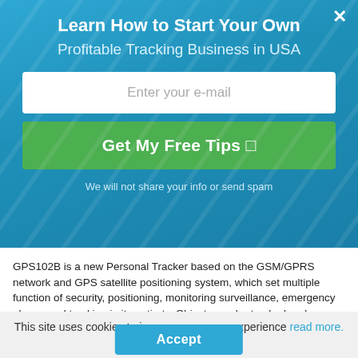Learn How to Start Your Own Profitable Tracking Business in USA
Enter your e-mail
Get My Free Tips
We will not share your info or send spam
GPS102B is a new Personal Tracker based on the GSM/GPRS network and GPS satellite positioning system, which set multiple function of security, positioning, monitoring surveillance, emergency alarms and tracking in its entirety. Objects can be tracked and monitored with GPSWOX Real Time Tracking System on your Computer, Mobile or Tablet (Apple, Android, Windows)
This site uses cookies to improve your user experience read more.
Accept